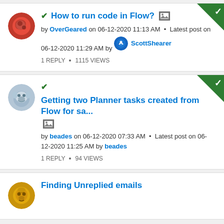How to run code in Flow? by OverGeared on 06-12-2020 11:13 AM · Latest post on 06-12-2020 11:29 AM by ScottShearer. 1 REPLY · 1115 VIEWS
Getting two Planner tasks created from Flow for sa... by beades on 06-12-2020 07:33 AM · Latest post on 06-12-2020 11:25 AM by beades. 1 REPLY · 94 VIEWS
Finding Unreplied emails